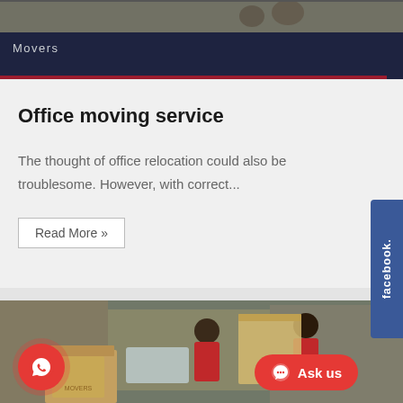[Figure (photo): Top image strip showing people moving items, partially visible]
Movers
Office moving service
The thought of office relocation could also be troublesome. However, with correct...
Read More »
[Figure (photo): Photo of movers in red shirts handling large boxes and containers]
[Figure (logo): Facebook sidebar tab with text 'facebook.']
[Figure (logo): WhatsApp circular button icon (red background)]
[Figure (logo): Ask us button with messenger icon (red pill shape)]